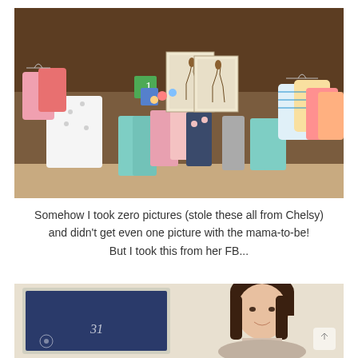[Figure (photo): Baby clothes and gifts spread across a brown sofa, including onesies, outfits, pants, framed giraffe prints, and other baby shower gifts]
Somehow I took zero pictures (stole these all from Chelsy) and didn't get even one picture with the mama-to-be! But I took this from her FB...
[Figure (photo): A pregnant woman holding a chalkboard sign showing her pregnancy week, smiling, with dark hair]